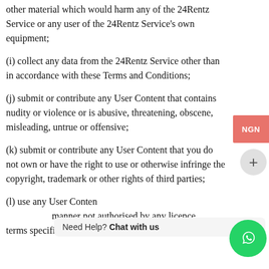other material which would harm any of the 24Rentz Service or any user of the 24Rentz Service's own equipment;
(i) collect any data from the 24Rentz Service other than in accordance with these Terms and Conditions;
(j) submit or contribute any User Content that contains nudity or violence or is abusive, threatening, obscene, misleading, untrue or offensive;
(k) submit or contribute any User Content that you do not own or have the right to use or otherwise infringe the copyright, trademark or other rights of third parties;
(l) use any User Content … terms specified by the owner;